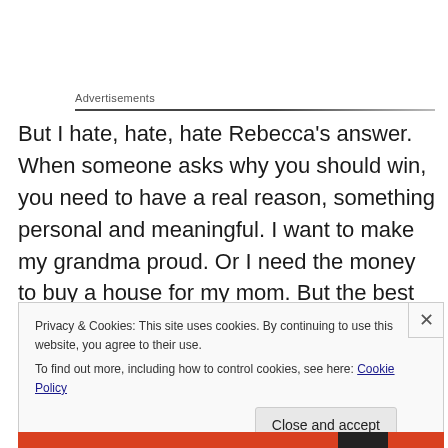Advertisements
But I hate, hate, hate Rebecca’s answer. When someone asks why you should win, you need to have a real reason, something personal and meaningful. I want to make my grandma proud. Or I need the money to buy a house for my mom. But the best Rebecca can come up with is “I want this.”
Privacy & Cookies: This site uses cookies. By continuing to use this website, you agree to their use.
To find out more, including how to control cookies, see here: Cookie Policy
Close and accept